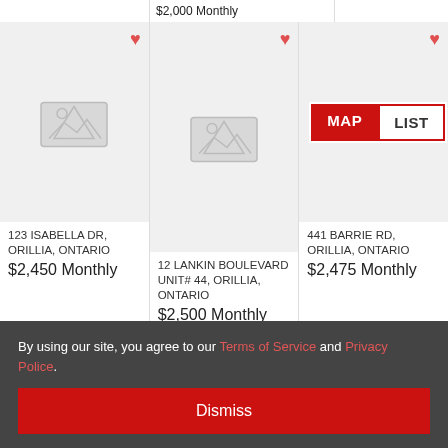$2,000 Monthly
[Figure (screenshot): Listing card placeholder image with heart icon - 123 Isabella Dr, Orillia, Ontario]
123 ISABELLA DR, ORILLIA, ONTARIO
$2,450 Monthly
[Figure (screenshot): Listing card placeholder image with heart icon - 12 Lankin Boulevard Unit# 44, Orillia, Ontario]
12 LANKIN BOULEVARD UNIT# 44, ORILLIA, ONTARIO
$2,500 Monthly
[Figure (screenshot): Listing card with MAP/LIST toggle - 441 Barrie Rd, Orillia, Ontario]
441 BARRIE RD, ORILLIA, ONTARIO
$2,475 Monthly
[Figure (screenshot): Partial listing card placeholder row 2 left]
[Figure (screenshot): Partial listing card placeholder row 2 center]
[Figure (screenshot): Partial listing card placeholder row 2 right]
By using our site, you agree to our Terms of Service and Privacy Police.
Dismiss